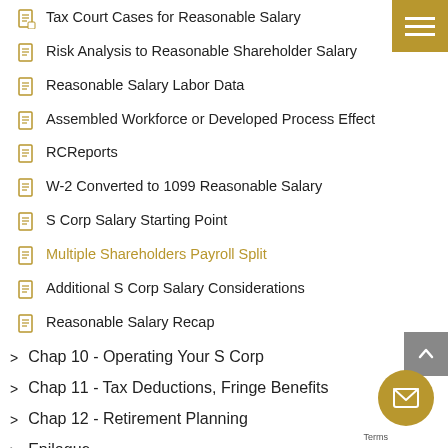Tax Court Cases for Reasonable Salary
Risk Analysis to Reasonable Shareholder Salary
Reasonable Salary Labor Data
Assembled Workforce or Developed Process Effect
RCReports
W-2 Converted to 1099 Reasonable Salary
S Corp Salary Starting Point
Multiple Shareholders Payroll Split
Additional S Corp Salary Considerations
Reasonable Salary Recap
Chap 10 - Operating Your S Corp
Chap 11 - Tax Deductions, Fringe Benefits
Chap 12 - Retirement Planning
Epilogue
Chap xx - Health Care
Chap yy - Business Valuations, Sale, Exit Planning